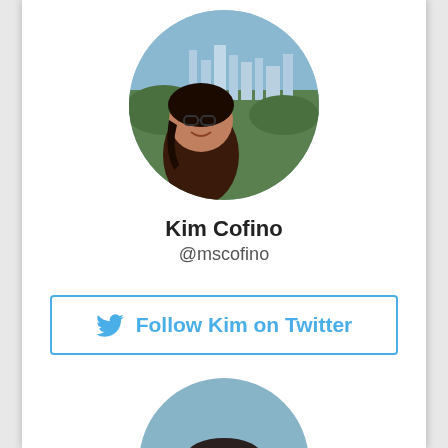[Figure (photo): Circular profile photo of Kim Cofino, a woman with glasses and dark hair, smiling, with a city skyline background]
Kim Cofino
@mscofino
Follow Kim on Twitter
[Figure (photo): Circular profile photo of a man wearing sunglasses on his head, smiling, wearing a pink shirt]